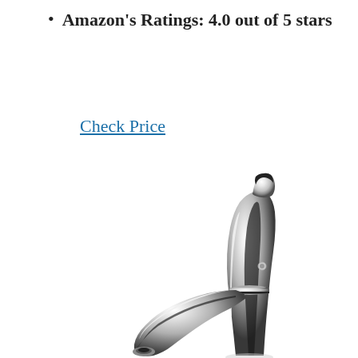Amazon's Ratings: 4.0 out of 5 stars
Check Price
[Figure (photo): Chrome single-handle bathroom faucet, tall body with curved spout, polished chrome finish, shown at an angle against white background]